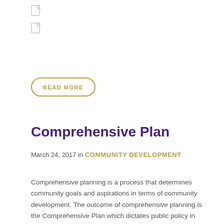[Figure (illustration): Two small document/file icons stacked vertically]
READ MORE
Comprehensive Plan
March 24, 2017 in COMMUNITY DEVELOPMENT
Comprehensive planning is a process that determines community goals and aspirations in terms of community development. The outcome of comprehensive planning is the Comprehensive Plan which dictates public policy in terms of transportation, utilities, land use, recreation, and housing.